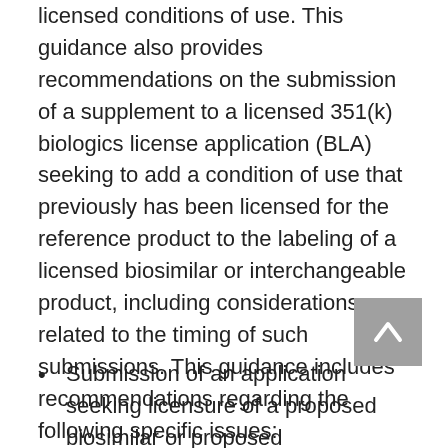licensed conditions of use. This guidance also provides recommendations on the submission of a supplement to a licensed 351(k) biologics license application (BLA) seeking to add a condition of use that previously has been licensed for the reference product to the labeling of a licensed biosimilar or interchangeable product, including considerations related to the timing of such submissions. This guidance includes recommendations regarding the following specific issues:
Submission of an application seeking licensure of a proposed biosimilar or proposed interchangeable biosimilar for